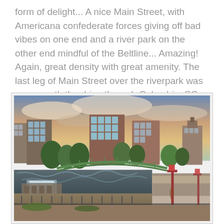form of delight... A nice Main Street, with Americana confederate forces giving off bad vibes on one end and a river park on the other end mindful of the Beltline... Amazing! Again, great density with great amenity. The last leg of Main Street over the riverpark was more worth the drive through Columbia, SC.
[Figure (photo): Aerial/elevated view of a river park area in Greenville, SC (or similar city), showing a green pedestrian bridge over a river with waterfalls/rapids, surrounded by mixed-use brick buildings 4-6 stories tall, trees, walkways, and a red lamp post in the foreground. Sunset/dusk sky with orange and blue clouds in the background.]